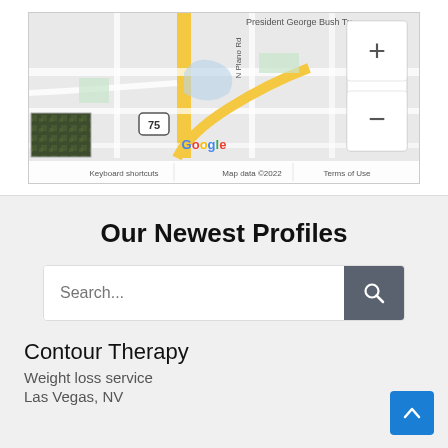[Figure (map): Google Maps screenshot showing street map near President George Bush Turnpike and N Plano Rd, Route 75, with zoom controls (+/-), Google logo, keyboard shortcuts, map data ©2022, and Terms of Use labels.]
Our Newest Profiles
Search...
Contour Therapy
Weight loss service
Las Vegas, NV